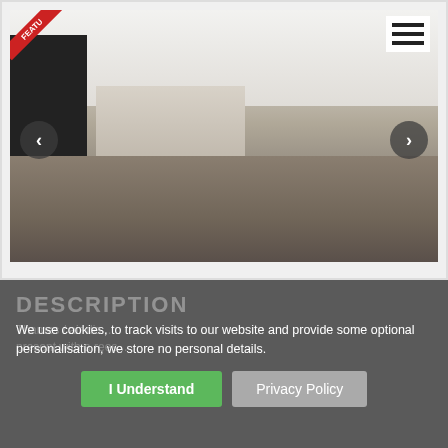[Figure (photo): Interior photo of a modern open-plan living room and kitchen. Shows a large flat-screen TV on the left, grey L-shaped sofa on the right, wooden kitchen island in the center, grey kitchen cabinets in the background, and dark laminate flooring. A 'FEATURED' red ribbon badge is visible in the top-left corner. Left and right navigation arrows (< and >) overlay the image. A hamburger menu icon is in the top-right corner.]
We use cookies, to track visits to our website and provide some optional personalisation, we store no personal details.
DESCRIPTION
I Understand
Privacy Policy